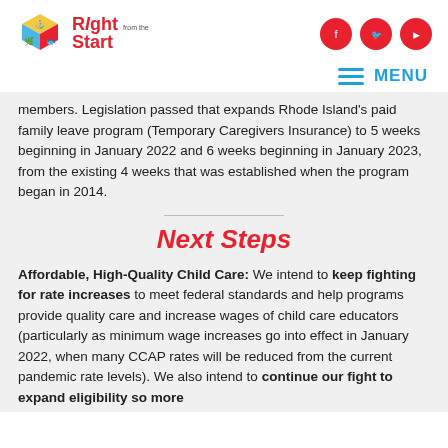Right from the Start
members. Legislation passed that expands Rhode Island's paid family leave program (Temporary Caregivers Insurance) to 5 weeks beginning in January 2022 and 6 weeks beginning in January 2023, from the existing 4 weeks that was established when the program began in 2014.
Next Steps
Affordable, High-Quality Child Care: We intend to keep fighting for rate increases to meet federal standards and help programs provide quality care and increase wages of child care educators (particularly as minimum wage increases go into effect in January 2022, when many CCAP rates will be reduced from the current pandemic rate levels). We also intend to continue our fight to expand eligibility so more